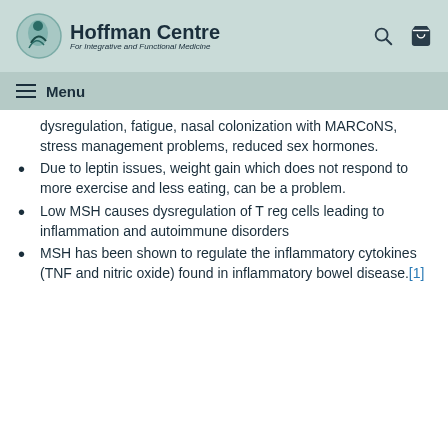Hoffman Centre For Integrative and Functional Medicine
Menu
dysregulation, fatigue, nasal colonization with MARCoNS, stress management problems, reduced sex hormones.
Due to leptin issues, weight gain which does not respond to more exercise and less eating, can be a problem.
Low MSH causes dysregulation of T reg cells leading to inflammation and autoimmune disorders
MSH has been shown to regulate the inflammatory cytokines (TNF and nitric oxide) found in inflammatory bowel disease.[1]